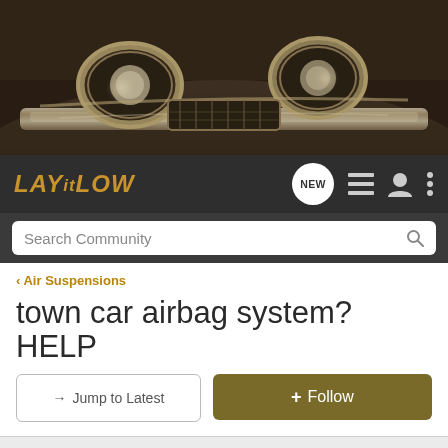[Figure (photo): Sepia-toned close-up photo of a vintage classic car front, showing chrome headlights and grille detail against a dark background.]
LAY it LOW — navigation bar with NEW, list, profile, and menu icons, plus Search Community search bar
< Air Suspensions
town car airbag system? HELP
→ Jump to Latest   + Follow
1 - 7 of 7 Posts
Guest ·